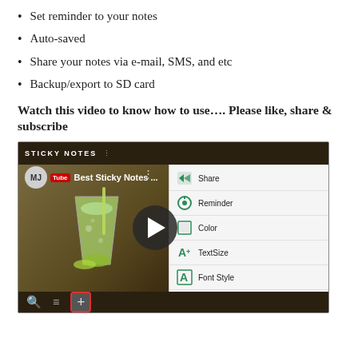Set reminder to your notes
Auto-saved
Share your notes via e-mail, SMS, and etc
Backup/export to SD card
Watch this video to know how to use…. Please like, share & subscribe
[Figure (screenshot): YouTube video thumbnail showing a sticky notes app with a menu displaying options: Share, Reminder, Color, TextSize, Font Style, Font Color. Left side shows a drink image on a brown background. Bottom bar has search, menu, and plus button icons. Video title reads 'Best Sticky Notes ...']